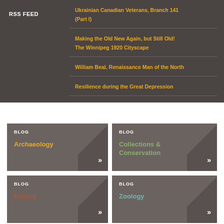RSS FEED
Ukrainian Canadian Veterans, Branch 141 (Part I)
Making the Old New Again, but Still Old! The Winnipeg 1920 Cityscape
William Beal, Renaissance Man of the North
Resilience during the Great Depression
BLOG - Archaeology
BLOG - Collections & Conservation
BLOG - History
BLOG - Zoology